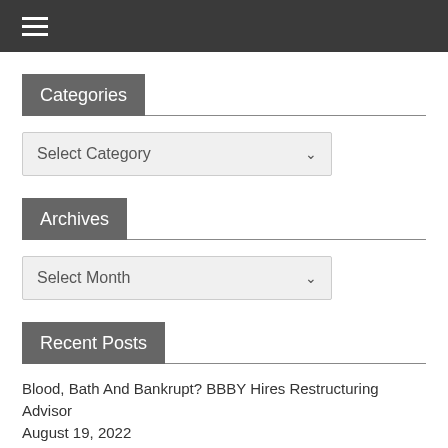☰
Categories
Select Category
Archives
Select Month
Recent Posts
Blood, Bath And Bankrupt? BBBY Hires Restructuring Advisor
August 19, 2022
Generated by Feedzy
Lowe's To Give $55 Million In Bonuses For Hourly Workers To